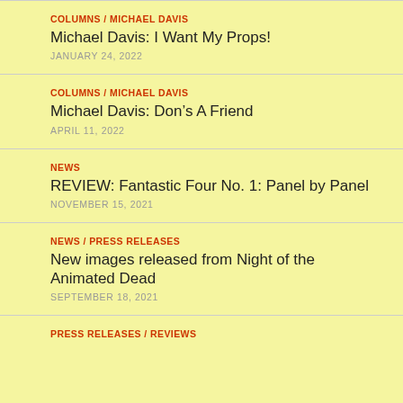COLUMNS / MICHAEL DAVIS
Michael Davis: I Want My Props!
JANUARY 24, 2022
COLUMNS / MICHAEL DAVIS
Michael Davis: Don’s A Friend
APRIL 11, 2022
NEWS
REVIEW: Fantastic Four No. 1: Panel by Panel
NOVEMBER 15, 2021
NEWS / PRESS RELEASES
New images released from Night of the Animated Dead
SEPTEMBER 18, 2021
PRESS RELEASES / REVIEWS